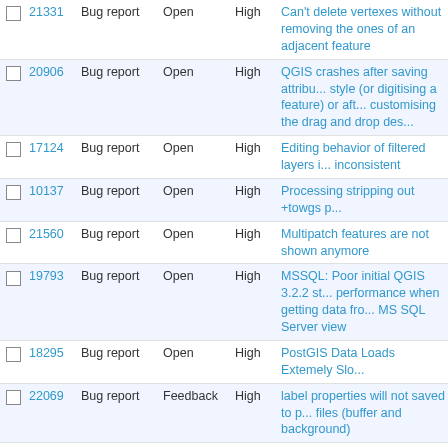|  | ID | Type | Status | Priority | Title |
| --- | --- | --- | --- | --- | --- |
|  | 21331 | Bug report | Open | High | Can't delete vertexes without removing the ones of an adjacent feature |
|  | 20906 | Bug report | Open | High | QGIS crashes after saving attribute style (or digitising a feature) or after customising the drag and drop des... |
|  | 17124 | Bug report | Open | High | Editing behavior of filtered layers is inconsistent |
|  | 10137 | Bug report | Open | High | Processing stripping out +towgs p... |
|  | 21560 | Bug report | Open | High | Multipatch features are not shown anymore |
|  | 19793 | Bug report | Open | High | MSSQL: Poor initial QGIS 3.2.2 st... performance when getting data fro... MS SQL Server view |
|  | 18295 | Bug report | Open | High | PostGIS Data Loads Extemely Slo... |
|  | 22069 | Bug report | Feedback | High | label properties will not saved to p... files (buffer and background) |
|  | 21912 | Bug report | Open | High | QGIS Crashed |
|  | 17672 | Bug report | Open | High | ssl error: certificate validate failed postgis and qgis 2.18.15 |
|  | 17315 | Bug report | Feedback | High | 3D Viewer: QGIS Crash when act... 3D Map view and 3D renderer |
|  | 17404 | Bug report | Feedback | High | Windows does not show unicode characters |
|  | 22036 | Bug report | Open | High | Zoom in/out and autorefreshing of... doesn't work after georeferencing |
|  | 20802 | Bug report | Feedback | High | crashed by export |
|  | 16866 | Bug report | Feedback | High | RenderUnit::RenderMetersInMap... no preview Image in Symbology-D... |
|  | 20791 | Bug report | Open | High | On the fly geometry validation doe... work and causes QGIS to not res... |